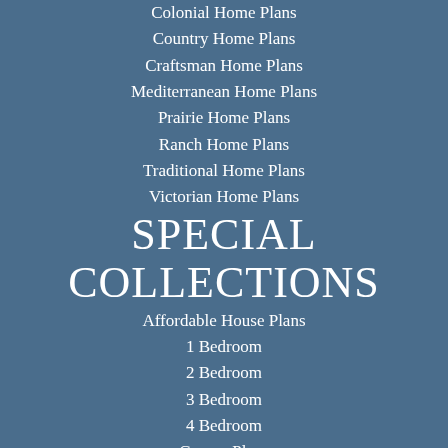Colonial Home Plans
Country Home Plans
Craftsman Home Plans
Mediterranean Home Plans
Prairie Home Plans
Ranch Home Plans
Traditional Home Plans
Victorian Home Plans
SPECIAL COLLECTIONS
Affordable House Plans
1 Bedroom
2 Bedroom
3 Bedroom
4 Bedroom
Garage Plans
Garage Plans with Apartments